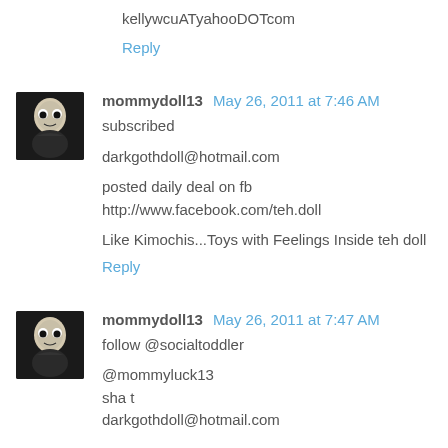kellywcuATyahooDOTcom
Reply
mommydoll13  May 26, 2011 at 7:46 AM
subscribed

darkgothdoll@hotmail.com

posted daily deal on fb http://www.facebook.com/teh.doll

Like Kimochis...Toys with Feelings Inside teh doll
Reply
mommydoll13  May 26, 2011 at 7:47 AM
follow @socialtoddler

@mommyluck13
sha t
darkgothdoll@hotmail.com